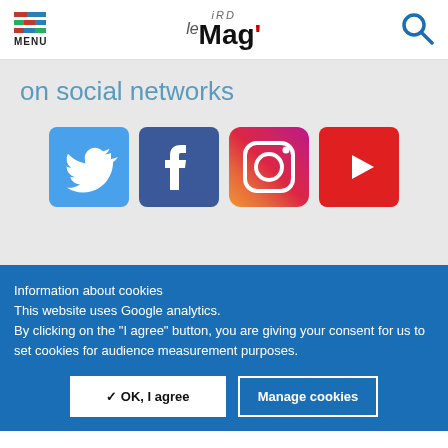MENU | IRD le Mag'
on social networks
[Figure (logo): Social media icons: Twitter, Facebook, Instagram, YouTube]
Information about cookies
This website uses Google analytics.
By clicking on the "I agree" button, you are giving your consent for us to set cookies for audience measurement purposes.
✓ OK, I agree   Manage cookies